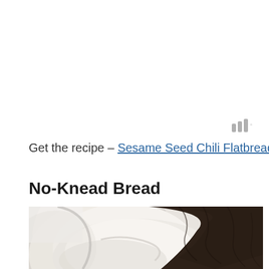[Figure (logo): Small logo mark consisting of three vertical bars of increasing height with a degree/dot symbol, rendered in gray]
Get the recipe – Sesame Seed Chili Flatbread
No-Knead Bread
[Figure (photo): Close-up photo of bread dough in a round bowl, with a dark brown cloth/towel draping over the top right portion. The dough is pale white/cream colored.]